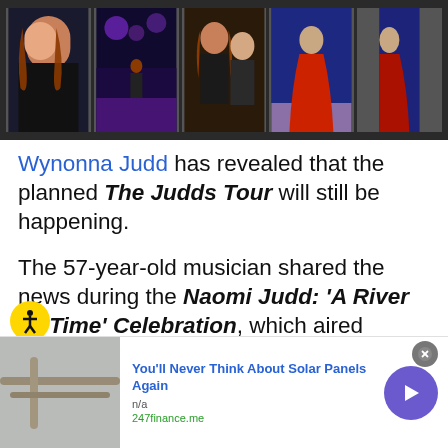[Figure (photo): A horizontal strip of five celebrity/concert photos on a dark background showing Wynonna Judd and others at various events]
Wynonna Judd has revealed that the planned The Judds Tour will still be happening.
The 57-year-old musician shared the news during the Naomi Judd: 'A River Of Time' Celebration, which aired tonight, May 15, on CMT.
[Figure (screenshot): Advertisement banner: 'You'll Never Think About Solar Panels Again' from 247finance.me with a photo of solar panel equipment and a purple arrow button]